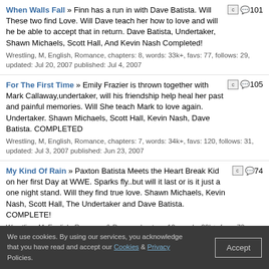When Walls Fall » Finn has a run in with Dave Batista. Will These two find Love. Will Dave teach her how to love and will he be able to accept that in return. Dave Batista, Undertaker, Shawn Michaels, Scott Hall, And Kevin Nash Completed! Wrestling, M, English, Romance, chapters: 8, words: 33k+, favs: 77, follows: 29, updated: Jul 20, 2007 published: Jul 4, 2007 [c] 101
For The First Time » Emily Frazier is thrown together with Mark Callaway,undertaker, will his friendship help heal her past and painful memories. Will She teach Mark to love again. Undertaker. Shawn Michaels, Scott Hall, Kevin Nash, Dave Batista. COMPLETED Wrestling, M, English, Romance, chapters: 7, words: 34k+, favs: 120, follows: 31, updated: Jul 3, 2007 published: Jun 23, 2007 [c] 105
My Kind Of Rain » Paxton Batista Meets the Heart Break Kid on her first Day at WWE. Sparks fly..but will it last or is it just a one night stand. Will they find true love. Shawn Michaels, Kevin Nash, Scott Hall, The Undertaker and Dave Batista. COMPLETE! Wrestling, M, English, Romance & Drama, chapters: 10, words: 29k+, favs: 73, follows: 15, updated: Jun 23, 2007 published: Jun 10, 2007 [c] 74
Beautiful Mess » A New Lady at WWE catches the attention Of Kevin Nash. Will these two find true love? Kevin Nash ,Scott Hall, The Undertaker, and Shawn Wrestling, M, English, Romance, chapters: 12, words: 34k+, favs: 74, follows: 22, updated: Jun 9, 2007 published: May 16, 2007 [c] 72
We use cookies. By using our services, you acknowledge that you have read and accept our Cookies & Privacy Policies. Accept